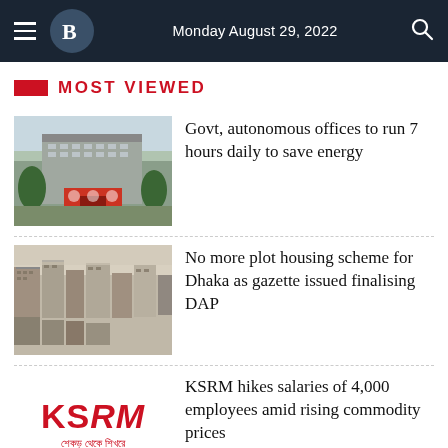Monday August 29, 2022
MOST VIEWED
[Figure (photo): Exterior view of a government or institutional building with trees in foreground]
Govt, autonomous offices to run 7 hours daily to save energy
[Figure (photo): Aerial view of dense urban housing in Dhaka]
No more plot housing scheme for Dhaka as gazette issued finalising DAP
[Figure (logo): KSRM logo with Bengali text 'শেকড় থেকে শিখরে']
KSRM hikes salaries of 4,000 employees amid rising commodity prices